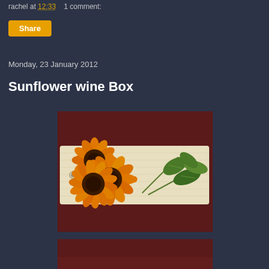rachel at 12:33   1 comment:
Share
Monday, 23 January 2012
Sunflower wine Box
[Figure (photo): A wooden wine box painted with sunflowers and green leaves on a dark burgundy background.]
[Figure (photo): Partial view of a second photo, cropped at bottom, showing dark red/burgundy background.]